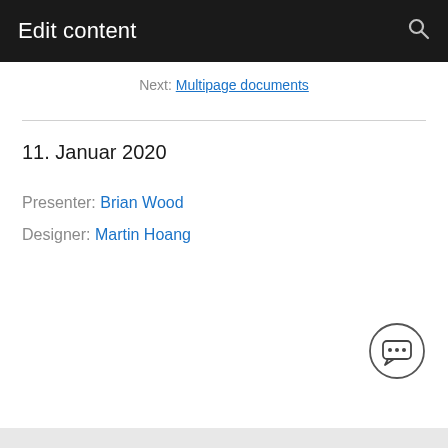Edit content
Next: Multipage documents
11. Januar 2020
Presenter: Brian Wood
Designer: Martin Hoang
[Figure (illustration): Chat bubble icon button in a circle]